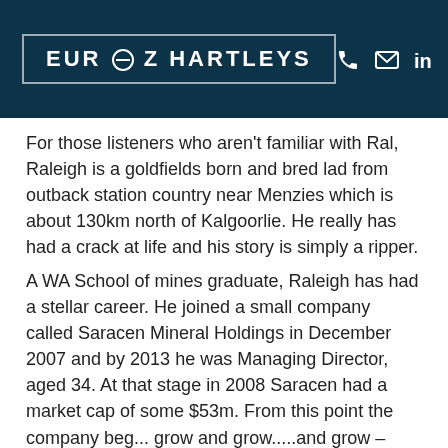EUROZ HARTLEYS
For those listeners who aren't familiar with Ral, Raleigh is a goldfields born and bred lad from outback station country near Menzies which is about 130km north of Kalgoorlie. He really has had a crack at life and his story is simply a ripper.
A WA School of mines graduate, Raleigh has had a stellar career. He joined a small company called Saracen Mineral Holdings in December 2007 and by 2013 he was Managing Director, aged 34. At that stage in 2008 Saracen had a market cap of some $53m. From this point the company began to grow and grow.....and grow – culminating in 2... under Raleigh's guidance – of achieving the status